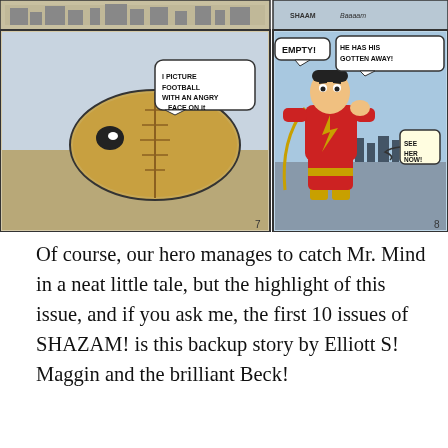[Figure (illustration): Comic book panels showing a football/creature on the left and a superhero (Captain Marvel/Shazam) in red and yellow costume on the right with speech bubbles saying EMPTY, HE HAS HIS GOTTEN AWAY, and SEE HER]
Of course, our hero manages to catch Mr. Mind in a neat little tale, but the highlight of this issue, and if you ask me, the first 10 issues of SHAZAM! is this backup story by Elliott S! Maggin and the brilliant Beck!
Advertisements
[Figure (screenshot): WooCommerce advertisement banner with purple gradient background and WooCommerce logo in white]
Advertisements
[Figure (screenshot): Bloomingdale's advertisement showing logo, View Today's Top Deals text, woman in hat, and SHOP NOW button]